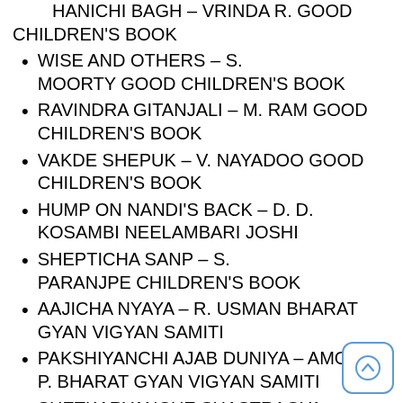HANICHI BAGH – VRINDA R. GOOD CHILDREN'S BOOK
WISE AND OTHERS – S. MOORTY GOOD CHILDREN'S BOOK
RAVINDRA GITANJALI – M. RAM GOOD CHILDREN'S BOOK
VAKDE SHEPUK – V. NAYADOO GOOD CHILDREN'S BOOK
HUMP ON NANDI'S BACK – D. D. KOSAMBI NEELAMBARI JOSHI
SHEPTICHA SANP – S. PARANJPE CHILDREN'S BOOK
AAJICHA NYAYA – R. USMAN BHARAT GYAN VIGYAN SAMITI
PAKSHIYANCHI AJAB DUNIYA – AMOL P. BHARAT GYAN VIGYAN SAMITI
SHETKARYANCHE SHASTRAGYA CARVER – D. MANOHAR BHARAT GYAN